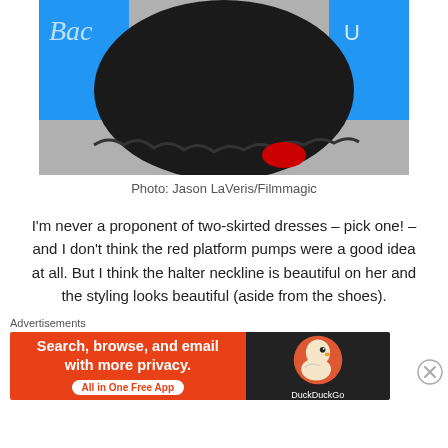[Figure (photo): Lower half of a person wearing a black lace two-skirted dress with red platform pumps, standing in front of a blue backdrop. Photo credit background visible.]
Photo: Jason LaVeris/Filmmagic
I'm never a proponent of two-skirted dresses – pick one! – and I don't think the red platform pumps were a good idea at all. But I think the halter neckline is beautiful on her and the styling looks beautiful (aside from the shoes).
Advertisements
[Figure (screenshot): DuckDuckGo advertisement banner: orange/red left section reading 'Search, browse, and email with more privacy. All in One Free App' and dark right section with DuckDuckGo duck logo.]